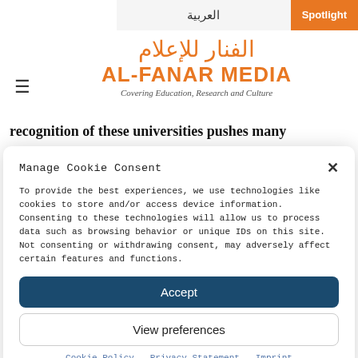Scholarship Finder | العربية | Spotlight
[Figure (logo): Al-Fanar Media logo with Arabic text and tagline 'Covering Education, Research and Culture']
recognition of these universities pushes many
Manage Cookie Consent
To provide the best experiences, we use technologies like cookies to store and/or access device information. Consenting to these technologies will allow us to process data such as browsing behavior or unique IDs on this site. Not consenting or withdrawing consent, may adversely affect certain features and functions.
Accept
View preferences
Cookie Policy   Privacy Statement   Imprint